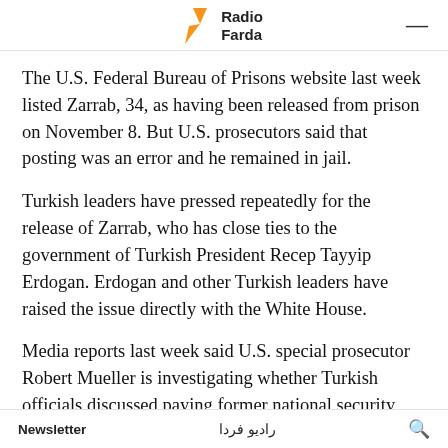Radio Farda
The U.S. Federal Bureau of Prisons website last week listed Zarrab, 34, as having been released from prison on November 8. But U.S. prosecutors said that posting was an error and he remained in jail.
Turkish leaders have pressed repeatedly for the release of Zarrab, who has close ties to the government of Turkish President Recep Tayyip Erdogan. Erdogan and other Turkish leaders have raised the issue directly with the White House.
Media reports last week said U.S. special prosecutor Robert Mueller is investigating whether Turkish officials discussed paying former national security adviser Michael Flynn $15 million to secure Zarrab's
Newsletter    رادیو فردا    🔍